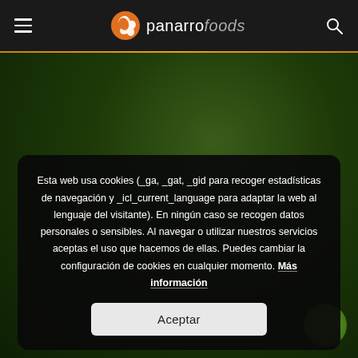panarrofoods navigation bar with hamburger menu and search icon
[Figure (screenshot): Panarro Foods website screenshot showing dark green blurred background]
Esta web usa cookies (_ga, _gat, _gid para recoger estadísticas de navegación y _icl_current_language para adaptar la web al lenguaje del visitante). En ningún caso se recogen datos personales o sensibles. Al navegar o utilizar nuestros servicios aceptas el uso que hacemos de ellas. Puedes cambiar la configuración de cookies en cualquier momento. Más información
Aceptar